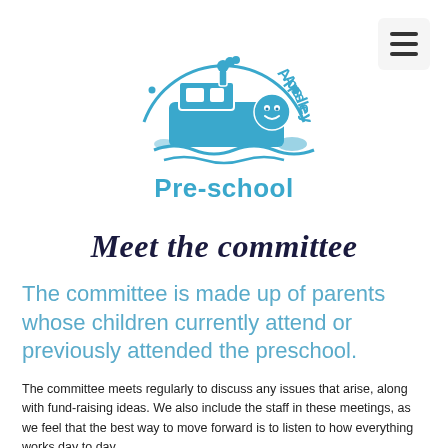[Figure (logo): Apsley Lock Pre-school logo: a blue circular emblem with a cartoon canal boat and the text 'Apsley Lock' around the top arc with dots, and 'Pre-school' in bold blue text below]
Meet the committee
The committee is made up of parents whose children currently attend or previously attended the preschool.
The committee meets regularly to discuss any issues that arise, along with fund-raising ideas. We also include the staff in these meetings, as we feel that the best way to move forward is to listen to how everything works day to day.